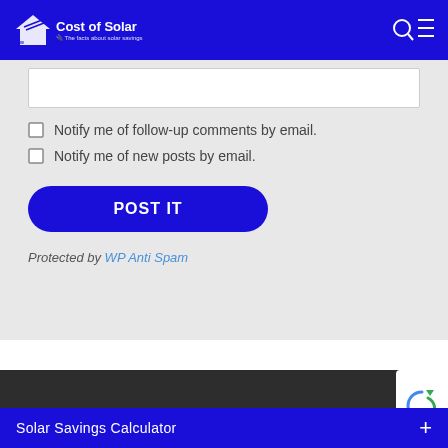Cost of Solar — The facts about solar savings
Notify me of follow-up comments by email.
Notify me of new posts by email.
POST IT
Protected by WP Anti Spam
Solar Savings Calculator +